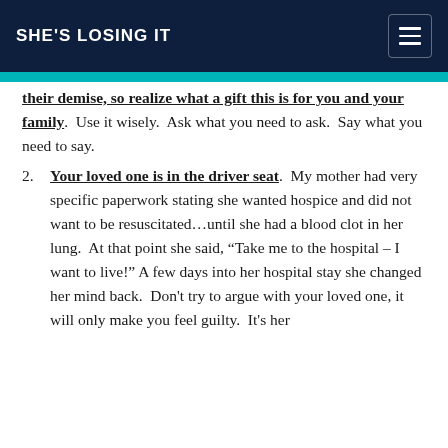SHE'S LOSING IT
their demise, so realize what a gift this is for you and your family.  Use it wisely.  Ask what you need to ask.  Say what you need to say.
Your loved one is in the driver seat.  My mother had very specific paperwork stating she wanted hospice and did not want to be resuscitated…until she had a blood clot in her lung.  At that point she said, “Take me to the hospital – I want to live!” A few days into her hospital stay she changed her mind back.  Don't try to argue with your loved one, it will only make you feel guilty.  It's her